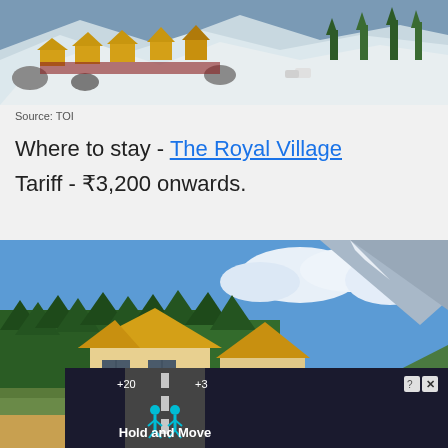[Figure (photo): Aerial view of yellow-roofed huts/tents on a snowy mountain slope with pine trees]
Source: TOI
Where to stay - The Royal Village
Tariff - ₹3,200 onwards.
[Figure (photo): Yellow wooden cabins/huts with pitched roofs set against blue sky, mountains, and pine forest]
[Figure (screenshot): Ad overlay showing 'Hold and Move' game/app with figure icons on a road]